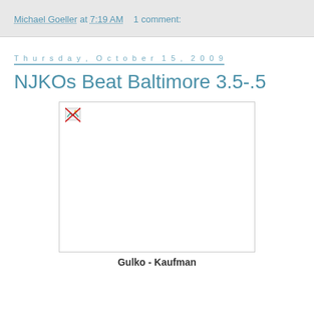Michael Goeller at 7:19 AM   1 comment:
Thursday, October 15, 2009
NJKOs Beat Baltimore 3.5-.5
[Figure (photo): Broken image placeholder with small broken image icon in top-left corner, white interior with gray border]
Gulko - Kaufman